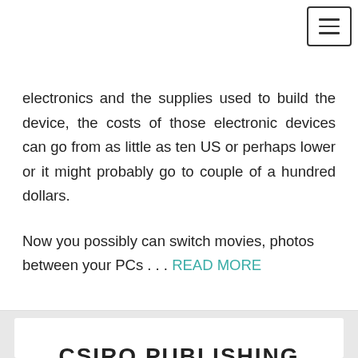electronics and the supplies used to build the device, the costs of those electronic devices can go from as little as ten US or perhaps lower or it might probably go to couple of a hundred dollars.
Now you possibly can switch movies, photos between your PCs . . . READ MORE
CSIRO PUBLISHING
July 27, 2018 & Miya